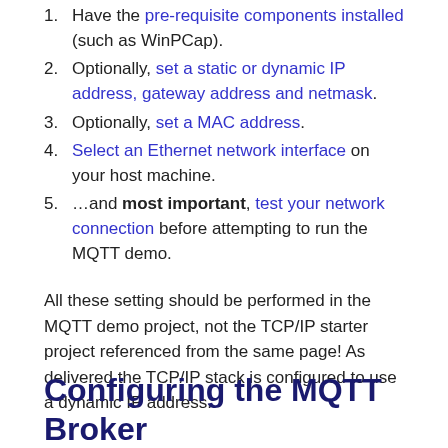1. Have the pre-requisite components installed (such as WinPCap).
2. Optionally, set a static or dynamic IP address, gateway address and netmask.
3. Optionally, set a MAC address.
4. Select an Ethernet network interface on your host machine.
5. …and most important, test your network connection before attempting to run the MQTT demo.
All these setting should be performed in the MQTT demo project, not the TCP/IP starter project referenced from the same page! As delivered the TCP/IP stack is configured to use a dynamic IP address.
Configuring the MQTT Broker